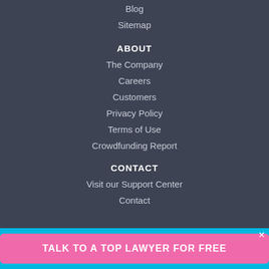Blog
Sitemap
ABOUT
The Company
Careers
Customers
Privacy Policy
Terms of Use
Crowdfunding Report
CONTACT
Visit our Support Center
Contact
TALK TO A TOP LAWYER FOR FREE